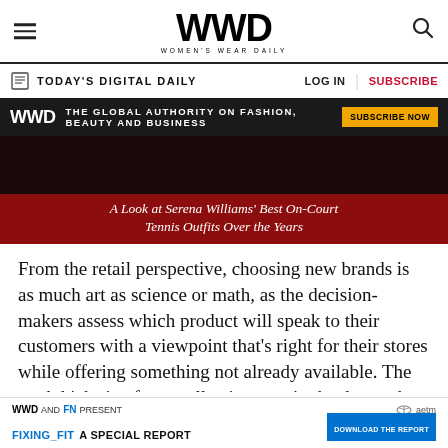WWD — Women's Wear Daily
TODAY'S DIGITAL DAILY
[Figure (screenshot): WWD ad banner: dark background with WWD logo, text 'THE GLOBAL AUTHORITY ON FASHION, BEAUTY AND BUSINESS', and a gold 'SUBSCRIBE NOW' button]
[Figure (screenshot): Video thumbnail with dark background and red overlay text: 'A Look at Serena Williams Best On-Court Tennis Outfits Over the Years']
From the retail perspective, choosing new brands is as much art as science or math, as the decision-makers assess which product will speak to their customers with a viewpoint that's right for their stores while offering something not already available. The math kicks in after a collection gets in the door, when over whatever period of time
WWD AND FN PRESENT — FIXING_FIT A SPECIAL REPORT — DOWNLOAD THE REPORT